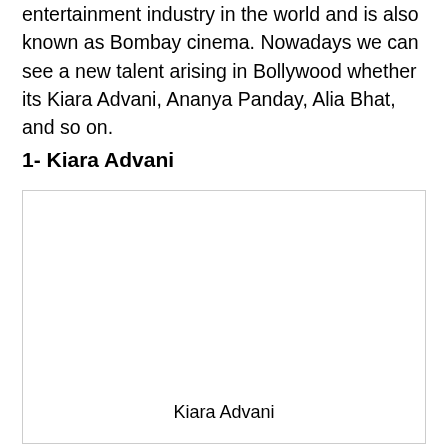entertainment industry in the world and is also known as Bombay cinema. Nowadays we can see a new talent arising in Bollywood whether its Kiara Advani, Ananya Panday, Alia Bhat, and so on.
1- Kiara Advani
[Figure (photo): A blank/white image placeholder with the caption 'Kiara Advani' centered at the bottom.]